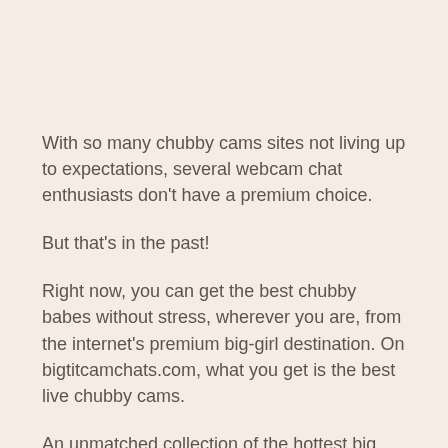With so many chubby cams sites not living up to expectations, several webcam chat enthusiasts don't have a premium choice.
But that's in the past!
Right now, you can get the best chubby babes without stress, wherever you are, from the internet's premium big-girl destination. On bigtitcamchats.com, what you get is the best live chubby cams.
An unmatched collection of the hottest big tits, are available for users. Everything you need from